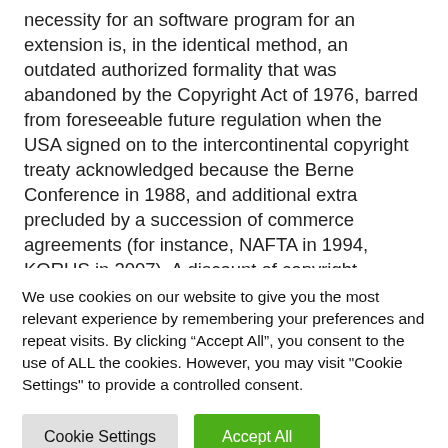necessity for an software program for an extension is, in the identical method, an outdated authorized formality that was abandoned by the Copyright Act of 1976, barred from foreseeable future regulation when the USA signed on to the intercontinental copyright treaty acknowledged because the Berne Conference in 1988, and additional extra precluded by a succession of commerce agreements (for instance, NAFTA in 1994, KORUS in 2007). A discount of copyright situations to twenty-eight a
We use cookies on our website to give you the most relevant experience by remembering your preferences and repeat visits. By clicking “Accept All”, you consent to the use of ALL the cookies. However, you may visit "Cookie Settings" to provide a controlled consent.